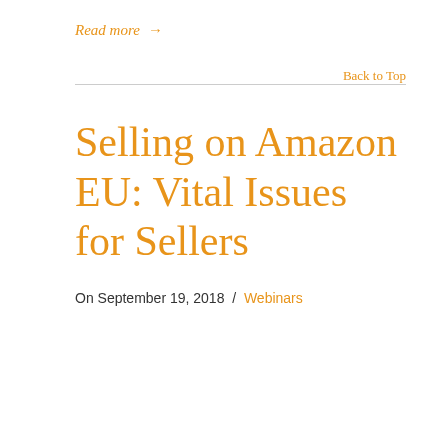Read more →
Back to Top
Selling on Amazon EU: Vital Issues for Sellers
On September 19, 2018  /  Webinars